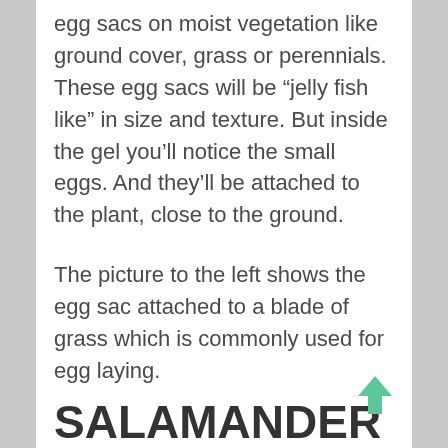egg sacs on moist vegetation like ground cover, grass or perennials. These egg sacs will be “jelly fish like” in size and texture. But inside the gel you’ll notice the small eggs. And they’ll be attached to the plant, close to the ground.
The picture to the left shows the egg sac attached to a blade of grass which is commonly used for egg laying.
SALAMANDER